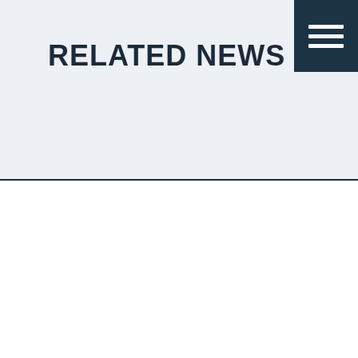RELATED NEWS
[Figure (illustration): Hamburger menu icon — three white horizontal lines on dark teal/navy background square]
THIS SITE USES COOKIES
ACCEPT ALL COOKIES
DECLINE
COOKIE POLICY